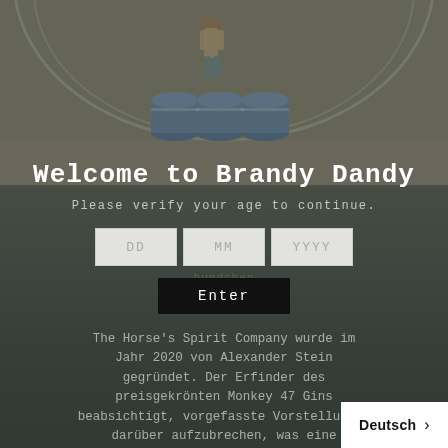[Figure (photo): Greenhouse/farm scene with a person standing among large blue barrels/containers inside a polytunnel structure]
Welcome to Brandy Dandy
Please verify your age to continue.
DD  MM  YYYY
Enter
The Horse's Spirit Company wurde im Jahr 2020 von Alexander Stein gegründet. Der Erfinder des preisgekrönten Monkey 47 Gins beabsichtigt, vorgefasste Vorstellungen darüber aufzubrechen, was eine Spirituose sein kann oder s
Deutsch >